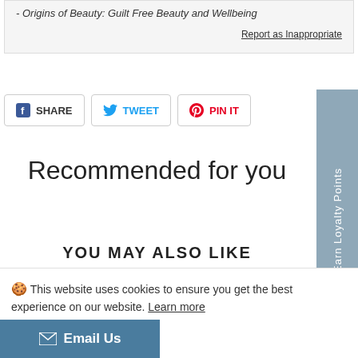- Origins of Beauty: Guilt Free Beauty and Wellbeing
Report as Inappropriate
SHARE  TWEET  PIN IT
Recommended for you
YOU MAY ALSO LIKE
🍪 This website uses cookies to ensure you get the best experience on our website. Learn more
Got it
Email Us
Earn Loyalty Points